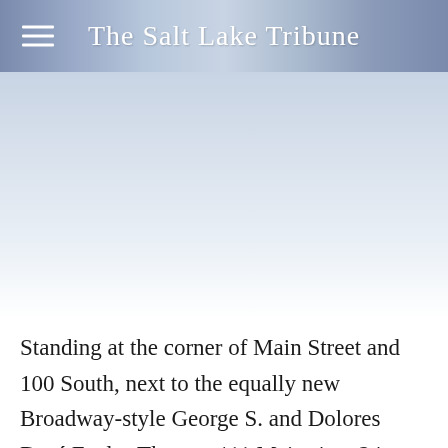The Salt Lake Tribune
[Figure (photo): Photograph placeholder area showing a building or cityscape scene, occupying the upper-middle portion of the page below the header]
Standing at the corner of Main Street and 100 South, next to the equally new Broadway-style George S. and Dolores Doré Eccles Theater, 111 Main rises 24 stories, with a lobby clad in 35-foot-high windows and a massive video wall